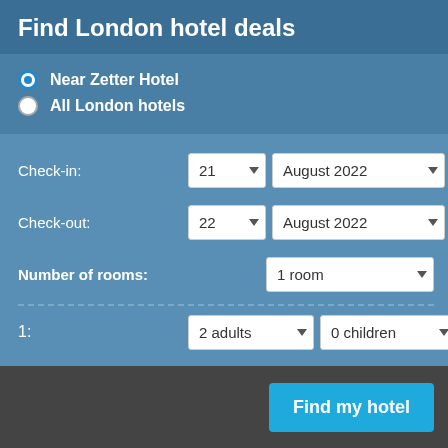Find London hotel deals
Near Zetter Hotel
All London hotels
Check-in: 21 August 2022
Check-out: 22 August 2022
Number of rooms: 1 room
1: 2 adults 0 children 0 infants
Find my hotel
London Hotels